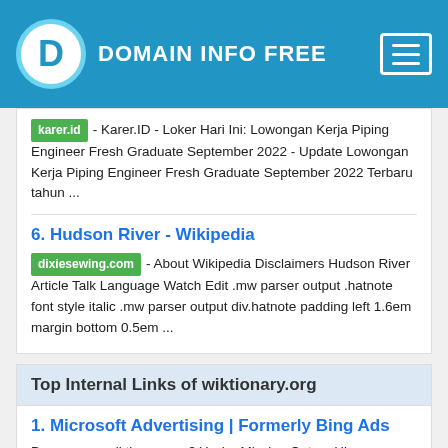DOMAIN INFO FREE
karer.id - Karer.ID - Loker Hari Ini: Lowongan Kerja Piping Engineer Fresh Graduate September 2022 - Update Lowongan Kerja Piping Engineer Fresh Graduate September 2022 Terbaru tahun ...
6. Hudson River - Wikipedia
dixiesewing.com - About Wikipedia Disclaimers Hudson River Article Talk Language Watch Edit .mw parser output .hatnote font style italic .mw parser output div.hatnote padding left 1.6em margin bottom 0.5em ...
Top Internal Links of wiktionary.org
1. Microsoft Advertising | Formerly Bing Ads
Do you own wiktionary.org? You're Missing Out on High Value Audience with Lower Cost-per-Click & Great ROI!